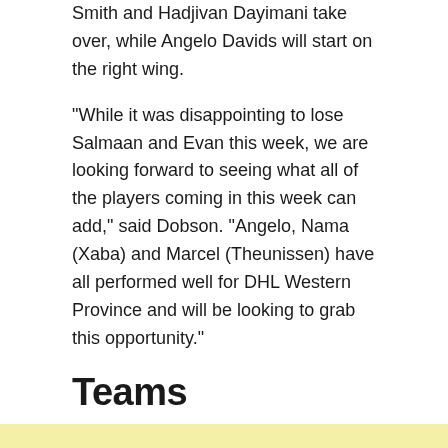Smith and Hadjivan Dayimani take over, while Angelo Davids will start on the right wing.
“While it was disappointing to lose Salmaan and Evan this week, we are looking forward to seeing what all of the players coming in this week can add,” said Dobson. “Angelo, Nama (Xaba) and Marcel (Theunissen) have all performed well for DHL Western Province and will be looking to grab this opportunity.”
Teams
[Figure (other): Yellow/light green colored advertisement or blank section at the bottom of the page]